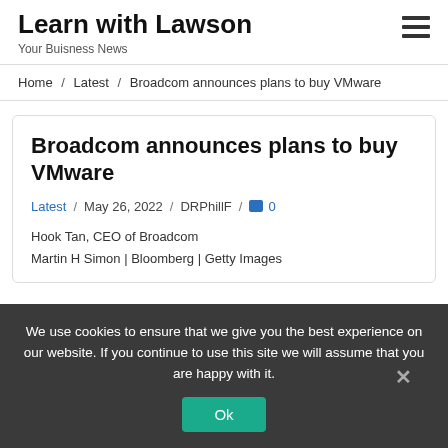Learn with Lawson
Your Buisness News
Home / Latest / Broadcom announces plans to buy VMware
Broadcom announces plans to buy VMware
Latest / May 26, 2022 / DRPhillF / 0
Hook Tan, CEO of Broadcom
Martin H Simon | Bloomberg | Getty Images
We use cookies to ensure that we give you the best experience on our website. If you continue to use this site we will assume that you are happy with it.